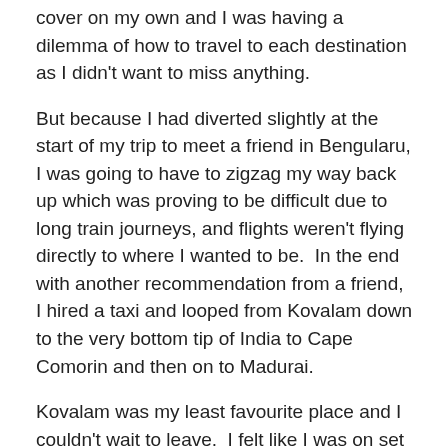cover on my own and I was having a dilemma of how to travel to each destination as I didn't want to miss anything.
But because I had diverted slightly at the start of my trip to meet a friend in Bengularu, I was going to have to zigzag my way back up which was proving to be difficult due to long train journeys, and flights weren't flying directly to where I wanted to be.  In the end with another recommendation from a friend, I hired a taxi and looped from Kovalam down to the very bottom tip of India to Cape Comorin and then on to Madurai.
Kovalam was my least favourite place and I couldn't wait to leave.  I felt like I was on set of the programme Benidorm.  I spent just two nights there and would far rather have spent them in Varkala.